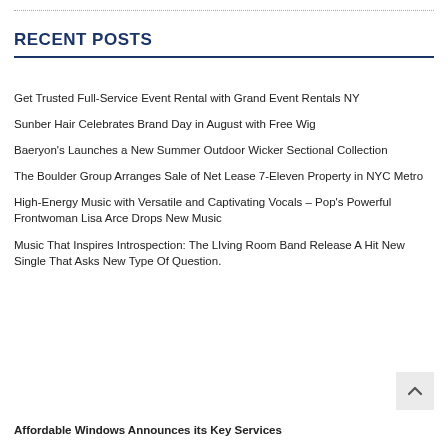RECENT POSTS
Get Trusted Full-Service Event Rental with Grand Event Rentals NY
Sunber Hair Celebrates Brand Day in August with Free Wig
Baeryon's Launches a New Summer Outdoor Wicker Sectional Collection
The Boulder Group Arranges Sale of Net Lease 7-Eleven Property in NYC Metro
High-Energy Music with Versatile and Captivating Vocals – Pop's Powerful Frontwoman Lisa Arce Drops New Music
Music That Inspires Introspection: The LIving Room Band Release A Hit New Single That Asks New Type Of Question.
Affordable Windows Announces its Key Services